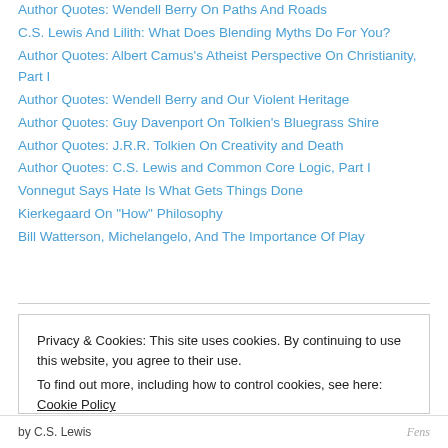Author Quotes: Wendell Berry On Paths And Roads
C.S. Lewis And Lilith: What Does Blending Myths Do For You?
Author Quotes: Albert Camus's Atheist Perspective On Christianity, Part I
Author Quotes: Wendell Berry and Our Violent Heritage
Author Quotes: Guy Davenport On Tolkien's Bluegrass Shire
Author Quotes: J.R.R. Tolkien On Creativity and Death
Author Quotes: C.S. Lewis and Common Core Logic, Part I
Vonnegut Says Hate Is What Gets Things Done
Kierkegaard On "How" Philosophy
Bill Watterson, Michelangelo, And The Importance Of Play
Privacy & Cookies: This site uses cookies. By continuing to use this website, you agree to their use.
To find out more, including how to control cookies, see here: Cookie Policy
by C.S. Lewis